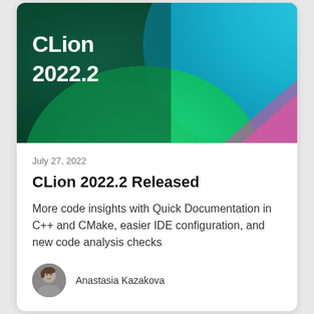[Figure (illustration): Hero image for CLion 2022.2 blog post. Dark green and teal gradient background with bright green and blue abstract curved shapes and a pink triangular accent. White bold text 'CLion 2022.2' in top left corner.]
July 27, 2022
CLion 2022.2 Released
More code insights with Quick Documentation in C++ and CMake, easier IDE configuration, and new code analysis checks
Anastasia Kazakova